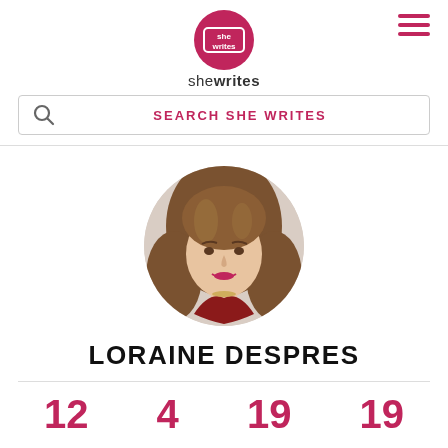[Figure (logo): She Writes logo: circle with 'she writes' text inside, pink background]
[Figure (other): Hamburger menu icon (three horizontal pink lines) in top right corner]
SEARCH SHE WRITES
[Figure (photo): Circular profile photo of Loraine Despres, a woman with long brown curly hair, wearing a red jacket, smiling]
LORAINE DESPRES
12  4  19  19